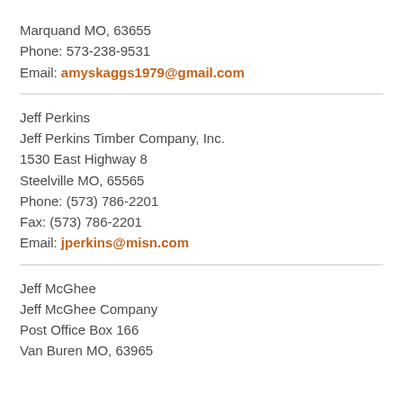Marquand MO, 63655
Phone: 573-238-9531
Email: amyskaggs1979@gmail.com
Jeff Perkins
Jeff Perkins Timber Company, Inc.
1530 East Highway 8
Steelville MO, 65565
Phone: (573) 786-2201
Fax: (573) 786-2201
Email: jperkins@misn.com
Jeff McGhee
Jeff McGhee Company
Post Office Box 166
Van Buren MO, 63965